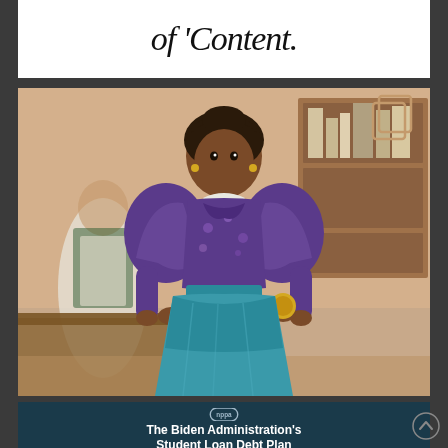of 'Content.'
[Figure (photo): A Barbie doll dressed in historical clothing — a purple Victorian-style puffed-sleeve blouse and teal skirt, with braided hair, set in a classroom background with other figures visible behind her. An overlapping pages icon is in the top-right corner of the image.]
The Biden Administration's Student Loan Debt Plan